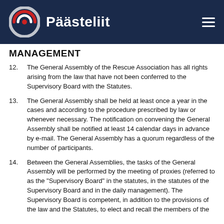Päästeliit
MANAGEMENT
12. The General Assembly of the Rescue Association has all rights arising from the law that have not been conferred to the Supervisory Board with the Statutes.
13. The General Assembly shall be held at least once a year in the cases and according to the procedure prescribed by law or whenever necessary. The notification on convening the General Assembly shall be notified at least 14 calendar days in advance by e-mail. The General Assembly has a quorum regardless of the number of participants.
14. Between the General Assemblies, the tasks of the General Assembly will be performed by the meeting of proxies (referred to as the "Supervisory Board" in the statutes, in the statutes of the Supervisory Board and in the daily management). The Supervisory Board is competent, in addition to the provisions of the law and the Statutes, to elect and recall the members of the